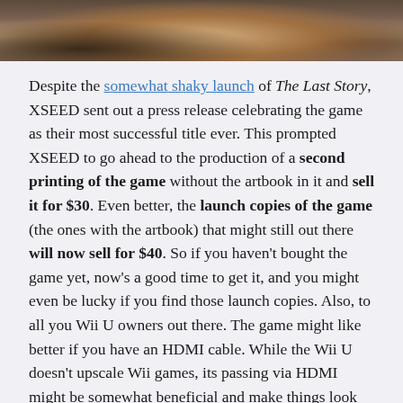[Figure (photo): Cropped top portion of an image showing video game characters or figures in dark/warm tones]
Despite the somewhat shaky launch of The Last Story, XSEED sent out a press release celebrating the game as their most successful title ever. This prompted XSEED to go ahead to the production of a second printing of the game without the artbook in it and sell it for $30. Even better, the launch copies of the game (the ones with the artbook) that might still out there will now sell for $40. So if you haven't bought the game yet, now's a good time to get it, and you might even be lucky if you find those launch copies. Also, to all you Wii U owners out there. The game might like better if you have an HDMI cable. While the Wii U doesn't upscale Wii games, its passing via HDMI might be somewhat beneficial and make things look less like an .mpeg on an HDTV.
Hopefully Nintendo's seeing this. While a success for XSEED might not have the same definition for Nintendo, they don't